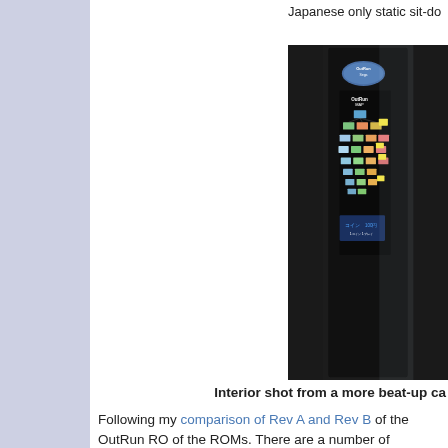Japanese only static sit-do
[Figure (photo): Interior shot of an OutRun arcade cabinet showing a black panel with an OutRun MAP sticker/placard displaying a route map with colorful stage thumbnails, and a coin slot area at the bottom.]
Interior shot from a more beat-up ca
Following my comparison of Rev A and Rev B of the OutRun ROMs. There are a number of differences and bug fixes w
1. There is no backup RAM. Therefore, the code doesn't conta. For example, the code to calculate backup RAM checksums.
2. The mini upright and standard upright cabinets are not s sitdown. As a result, Dip switch bank B functions differently. Di